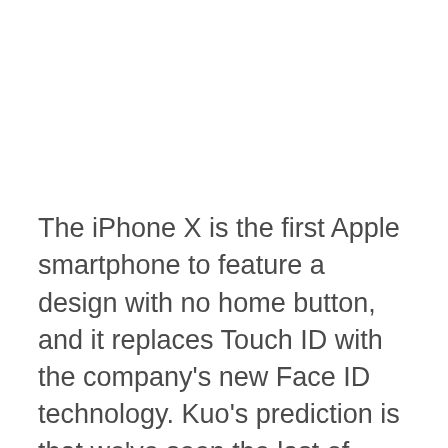The iPhone X is the first Apple smartphone to feature a design with no home button, and it replaces Touch ID with the company's new Face ID technology. Kuo's prediction is that we've seen the last of Touch ID with the iPhone 8, and next year will see Apple go all in on Face ID. "We believe this change will allow all new models to realize a competitive advantage via differentiation, on the back of an integrated user experience of full-screen